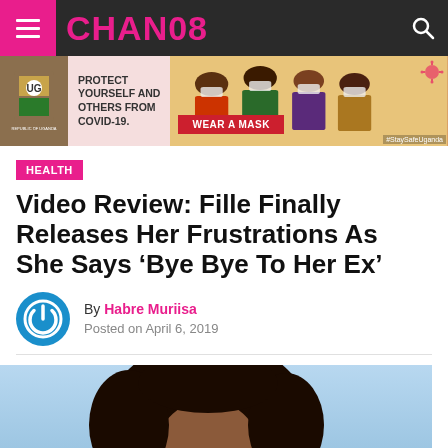CHANO8
[Figure (infographic): COVID-19 public health advertisement: PROTECT YOURSELF AND OTHERS FROM COVID-19. WEAR A MASK. #StaySafeUganda. Featuring Uganda coat of arms and illustrated people wearing masks with virus decorations.]
HEALTH
Video Review: Fille Finally Releases Her Frustrations As She Says ‘Bye Bye To Her Ex’
By Habre Muriisa
Posted on April 6, 2019
[Figure (photo): Close-up photo of a woman with curly hair wearing sunglasses, photographed against a light blue background.]